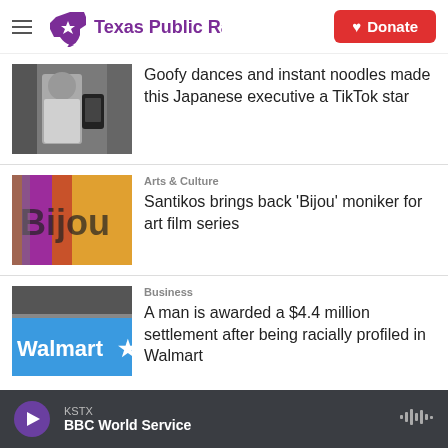Texas Public Radio — Donate
[Figure (photo): Photo of a Japanese man in a white jacket holding a smartphone filming content]
Goofy dances and instant noodles made this Japanese executive a TikTok star
[Figure (photo): Colorful Bijou sign with orange, red, and purple colors]
Arts & Culture
Santikos brings back 'Bijou' moniker for art film series
[Figure (photo): Walmart store exterior sign on blue building]
Business
A man is awarded a $4.4 million settlement after being racially profiled in Walmart
KSTX — BBC World Service